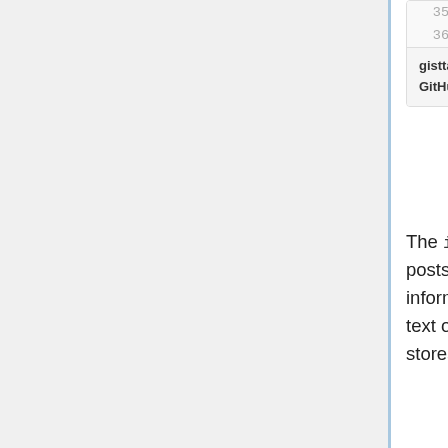[Figure (screenshot): GitHub Gist code snippet showing lines 35-36 of gisttables.txt with SQL code: KEY `spid` (`spid`) and ) ENGINE=InnoDB DEFAULT CHARS, with footer showing 'gisttables.txt hosted with ♥ by GitHub view raw']
The items_raw table is a pretty straightforward table. It just stores the posts, who they're by, where they're at, and some basic security information. Note that this table has the full uncompressed subject and text of the entries, so it can get rather large. The support_raw table stores similar information for support requests.
Site
Configuring your site is next. This involves adding a new section to your %DBINFO hash, like this: